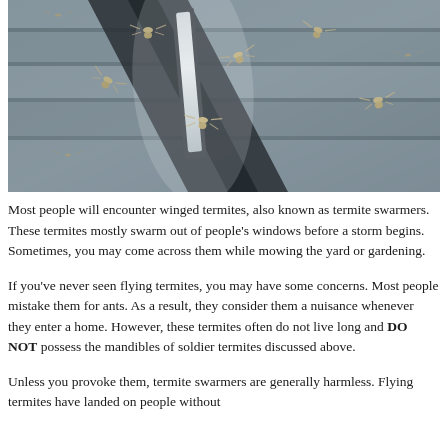[Figure (photo): Close-up photograph of winged termites (termite swarmers) swarming around a fluorescent light fixture mounted on a corrugated metal ceiling. Multiple termites are visible in flight and resting near the light.]
Most people will encounter winged termites, also known as termite swarmers. These termites mostly swarm out of people's windows before a storm begins. Sometimes, you may come across them while mowing the yard or gardening.
If you've never seen flying termites, you may have some concerns. Most people mistake them for ants. As a result, they consider them a nuisance whenever they enter a home. However, these termites often do not live long and DO NOT possess the mandibles of soldier termites discussed above.
Unless you provoke them, termite swarmers are generally harmless. Flying termites have landed on people without